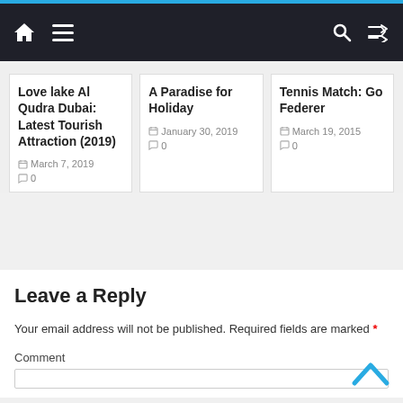Navigation bar with home, menu, search, and shuffle icons
Love lake Al Qudra Dubai: Latest Tourish Attraction (2019)
March 7, 2019  0
A Paradise for Holiday
January 30, 2019  0
Tennis Match: Go Federer
March 19, 2015  0
Leave a Reply
Your email address will not be published. Required fields are marked *
Comment